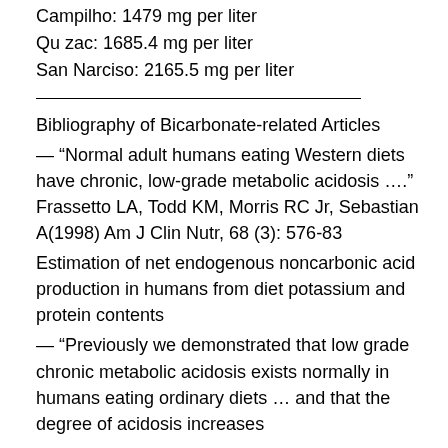Campilho: 1479 mg per liter
Qu zac: 1685.4 mg per liter
San Narciso: 2165.5 mg per liter
Bibliography of Bicarbonate-related Articles
— “Normal adult humans eating Western diets have chronic, low-grade metabolic acidosis ….” Frassetto LA, Todd KM, Morris RC Jr, Sebastian A(1998) Am J Clin Nutr, 68 (3): 576-83
Estimation of net endogenous noncarbonic acid production in humans from diet potassium and protein contents
— “Previously we demonstrated that low grade chronic metabolic acidosis exists normally in humans eating ordinary diets … and that the degree of acidosis increases